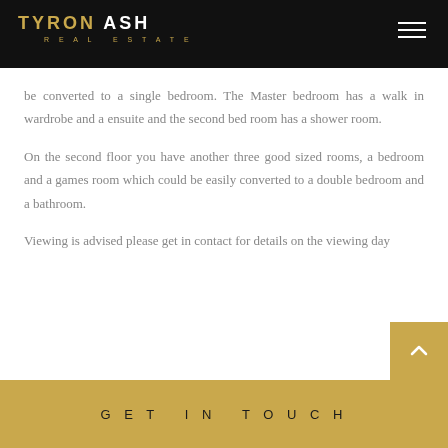TYRON ASH REAL ESTATE
be converted to a single bedroom. The Master bedroom has a walk in wardrobe and a ensuite and the second bed room has a shower room.

On the second floor you have another three good sized rooms, a bedroom and a games room which could be easily converted to a double bedroom and a bathroom.

Viewing is advised please get in contact for details on the viewing day
GET IN TOUCH